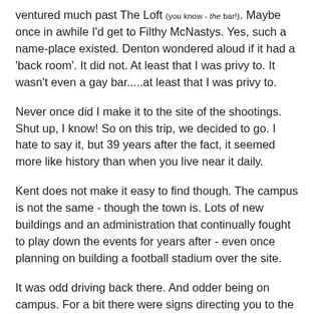ventured much past The Loft (you know - the bar!). Maybe once in awhile I'd get to Filthy McNastys. Yes, such a name-place existed. Denton wondered aloud if it had a 'back room'. It did not. At least that I was privy to. It wasn't even a gay bar.....at least that I was privy to.
Never once did I make it to the site of the shootings. Shut up, I know! So on this trip, we decided to go. I hate to say it, but 39 years after the fact, it seemed more like history than when you live near it daily.
Kent does not make it easy to find though. The campus is not the same - though the town is. Lots of new buildings and an administration that continually fought to play down the events for years after - even once planning on building a football stadium over the site.
It was odd driving back there. And odder being on campus. For a bit there were signs directing you to the May 4th Memorial.....and then they just stopped. Like they didn't really want you to find it, or get to your destination, at all. I'm not sure they did.